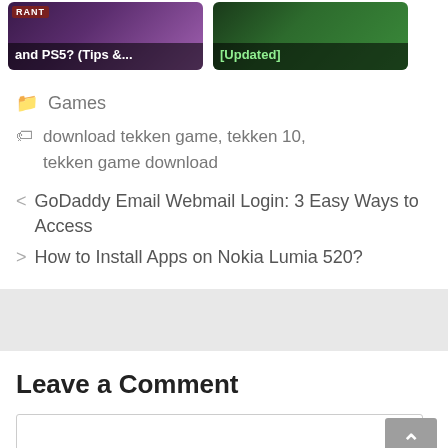[Figure (screenshot): Two thumbnail images side by side. Left thumbnail shows dark purple gaming background with 'RANT' badge and text 'and PS5? (Tips &...'. Right thumbnail shows dark green gaming background with text '[Updated]'.]
Games
download tekken game, tekken 10, tekken game download
GoDaddy Email Webmail Login: 3 Easy Ways to Access
How to Install Apps on Nokia Lumia 520?
Leave a Comment